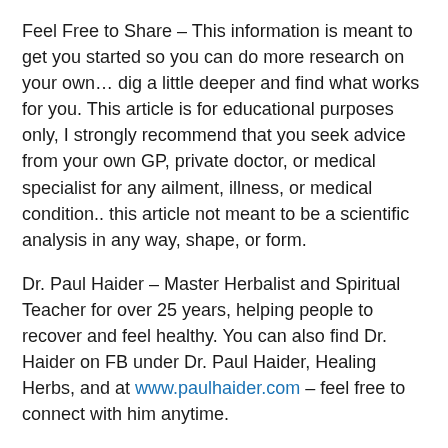Feel Free to Share – This information is meant to get you started so you can do more research on your own… dig a little deeper and find what works for you. This article is for educational purposes only, I strongly recommend that you seek advice from your own GP, private doctor, or medical specialist for any ailment, illness, or medical condition.. this article not meant to be a scientific analysis in any way, shape, or form.
Dr. Paul Haider – Master Herbalist and Spiritual Teacher for over 25 years, helping people to recover and feel healthy. You can also find Dr. Haider on FB under Dr. Paul Haider, Healing Herbs, and at www.paulhaider.com – feel free to connect with him anytime.
Here is a short video bio – http://www.youtube.com/watch?v=rK6Eq-xIX3U